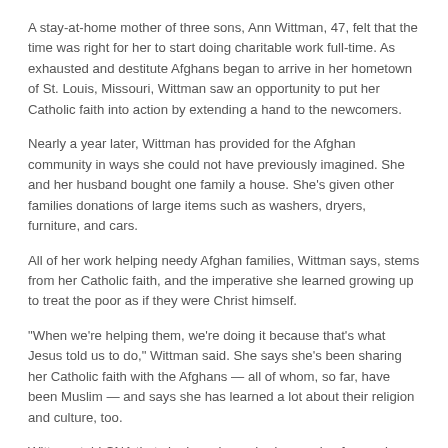A stay-at-home mother of three sons, Ann Wittman, 47, felt that the time was right for her to start doing charitable work full-time. As exhausted and destitute Afghans began to arrive in her hometown of St. Louis, Missouri, Wittman saw an opportunity to put her Catholic faith into action by extending a hand to the newcomers.
Nearly a year later, Wittman has provided for the Afghan community in ways she could not have previously imagined. She and her husband bought one family a house. She's given other families donations of large items such as washers, dryers, furniture, and cars.
All of her work helping needy Afghan families, Wittman says, stems from her Catholic faith, and the imperative she learned growing up to treat the poor as if they were Christ himself.
"When we're helping them, we're doing it because that's what Jesus told us to do," Wittman said. She says she's been sharing her Catholic faith with the Afghans — all of whom, so far, have been Muslim — and says she has learned a lot about their religion and culture, too.
Wittman told CNA that she has always had a passion for serving others, and credited that passion to her Catholic